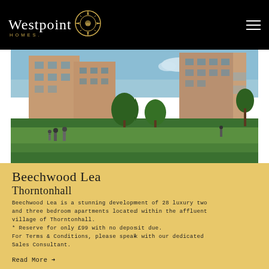Westpoint Homes
[Figure (photo): Exterior view of Beechwood Lea apartment development in Thorntonhall, showing modern brick residential buildings with green lawn and trees in foreground, people walking in the distance]
Beechwood Lea
Thorntonhall
Beechwood Lea is a stunning development of 28 luxury two and three bedroom apartments located within the affluent village of Thorntonhall.
* Reserve for only £99 with no deposit due.
For Terms & Conditions, please speak with our dedicated Sales Consultant.
Read More →